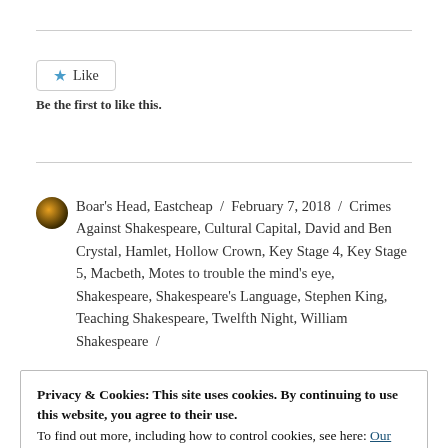Like
Be the first to like this.
Boar's Head, Eastcheap / February 7, 2018 / Crimes Against Shakespeare, Cultural Capital, David and Ben Crystal, Hamlet, Hollow Crown, Key Stage 4, Key Stage 5, Macbeth, Motes to trouble the mind's eye, Shakespeare, Shakespeare's Language, Stephen King, Teaching Shakespeare, Twelfth Night, William Shakespeare /
Privacy & Cookies: This site uses cookies. By continuing to use this website, you agree to their use.
To find out more, including how to control cookies, see here: Our Cookie Policy
So Be It
Okopede, Spitting Image, Star Trek, Star Wars, The Matrix